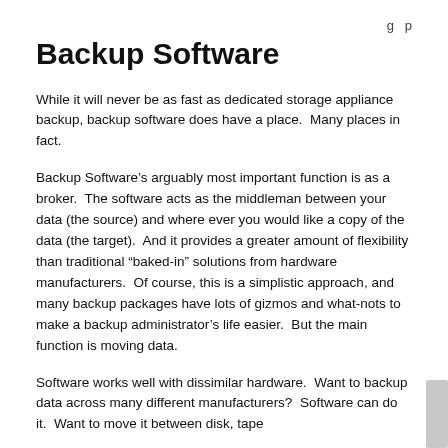g p
Backup Software
While it will never be as fast as dedicated storage appliance backup, backup software does have a place.  Many places in fact.
Backup Software's arguably most important function is as a broker.  The software acts as the middleman between your data (the source) and where ever you would like a copy of the data (the target).  And it provides a greater amount of flexibility than traditional “baked-in” solutions from hardware manufacturers.  Of course, this is a simplistic approach, and many backup packages have lots of gizmos and what-nots to make a backup administrator’s life easier.  But the main function is moving data.
Software works well with dissimilar hardware.  Want to backup data across many different manufacturers?  Software can do it.  Want to move it between disk, tape